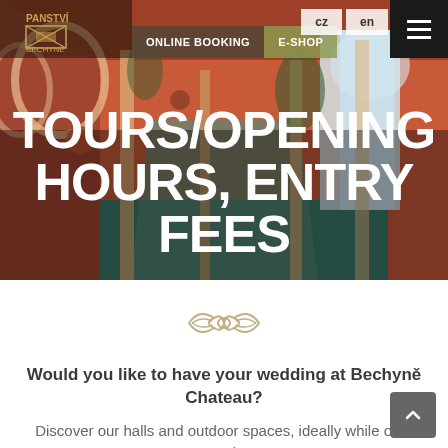[Figure (photo): Interior hallway of Bechyně Chateau with red/orange arched ceiling, teal carpet, white columns and large windows]
cz | en | ONLINE BOOKING | E-SHOP
TOURS/OPENING HOURS, ENTRY FEES
[Figure (logo): Decorative ornamental symbol/logo of Bechyně Chateau]
Would you like to have your wedding at Bechyně Chateau?
Discover our halls and outdoor spaces, ideally while on a personal tour.